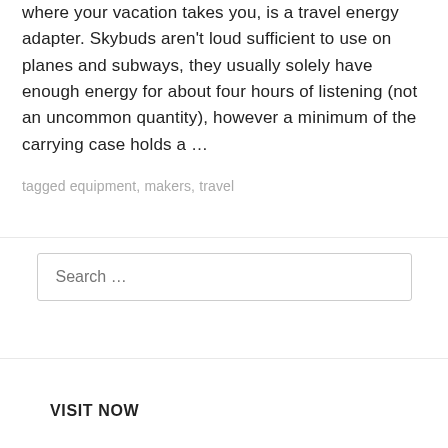where your vacation takes you, is a travel energy adapter. Skybuds aren't loud sufficient to use on planes and subways, they usually solely have enough energy for about four hours of listening (not an uncommon quantity), however a minimum of the carrying case holds a …
tagged equipment, makers, travel
Search …
VISIT NOW